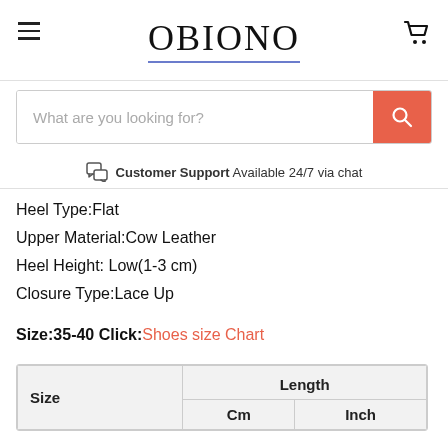OBIONO
What are you looking for?
Customer Support Available 24/7 via chat
Heel Type:Flat
Upper Material:Cow Leather
Heel Height: Low(1-3 cm)
Closure Type:Lace Up
Size:35-40 Click: Shoes size Chart
| Size | Length - Cm | Length - Inch |
| --- | --- | --- |